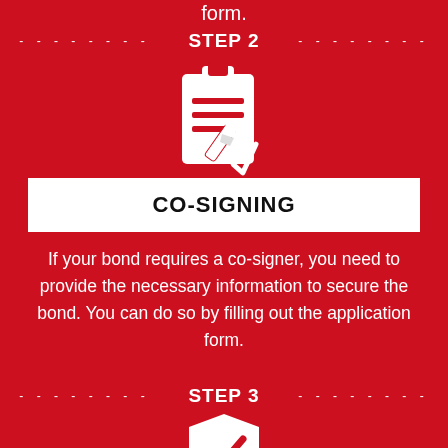form.
[Figure (infographic): STEP 2 label with dashed lines on either side and a clipboard/document with checkmark icon below]
CO-SIGNING
If your bond requires a co-signer, you need to provide the necessary information to secure the bond. You can do so by filling out the application form.
[Figure (infographic): STEP 3 label with dashed lines on either side and a shield with checkmark icon below]